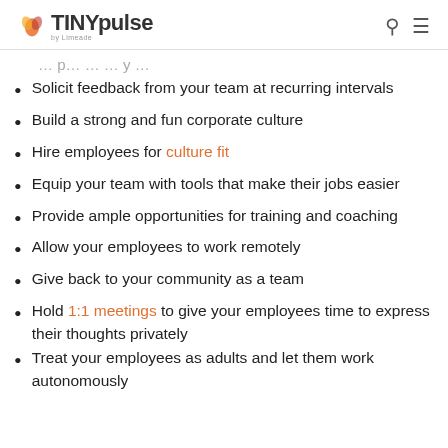TINYpulse by Limeade
Solicit feedback from your team at recurring intervals
Build a strong and fun corporate culture
Hire employees for culture fit
Equip your team with tools that make their jobs easier
Provide ample opportunities for training and coaching
Allow your employees to work remotely
Give back to your community as a team
Hold 1:1 meetings to give your employees time to express their thoughts privately
Treat your employees as adults and let them work autonomously